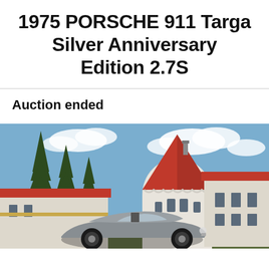1975 PORSCHE 911 Targa Silver Anniversary Edition 2.7S
Auction ended
[Figure (photo): A silver Porsche 911 Targa parked in front of a white castle or manor house with a distinctive red conical roof tower, surrounded by tall evergreen trees under a partly cloudy blue sky.]